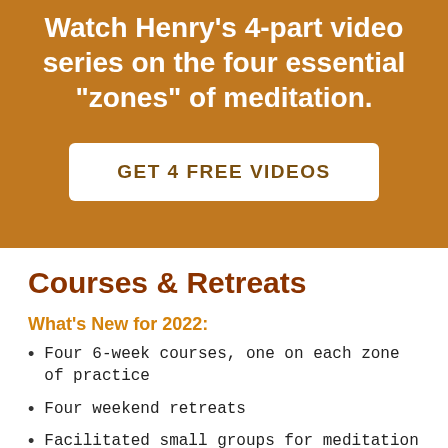Watch Henry's 4-part video series on the four essential "zones" of meditation.
GET 4 FREE VIDEOS
Courses & Retreats
What's New for 2022:
Four 6-week courses, one on each zone of practice
Four weekend retreats
Facilitated small groups for meditation practice